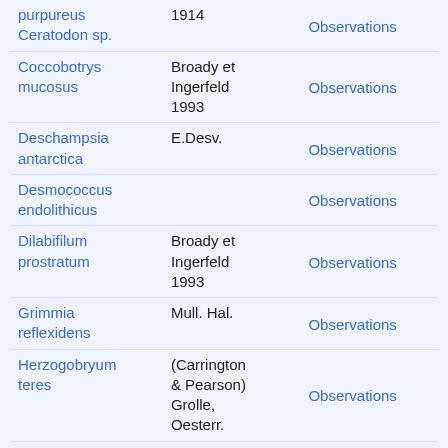| Species | Author | Data |
| --- | --- | --- |
| purpureus
Ceratodon sp. | 1914 | Observations |
| Coccobotrys mucosus | Broady et Ingerfeld 1993 | Observations |
| Deschampsia antarctica | E.Desv. | Observations |
| Desmococcus endolithicus |  | Observations |
| Dilabifilum prostratum | Broady et Ingerfeld 1993 | Observations |
| Grimmia reflexidens | Mull. Hal. | Observations |
| Herzogobryum teres | (Carrington & Pearson) Grolle, Oesterr. | Observations |
| Kiaeria pumila | (Mitt.) Ochyra | Observations |
| moss sp. |  | Observations |
|  | (Hedw.) |  |